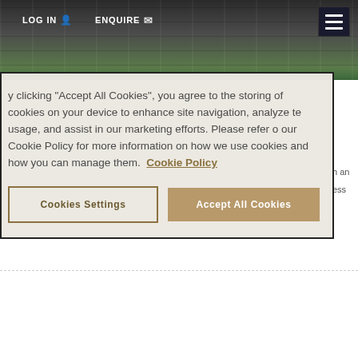[Figure (photo): Stadium or sports venue photograph showing stands, green field, crowded spectator areas — top banner image]
LOG IN   ENQUIRE
y clicking “Accept All Cookies”, you agree to the storing of cookies on your device to enhance site navigation, analyze te usage, and assist in our marketing efforts. Please refer o our Cookie Policy for more information on how we use cookies and how you can manage them.  Cookie Policy
Cookies Settings
Accept All Cookies
[Figure (photo): Stadium floodlight poles against a light blue sky — bottom banner image]